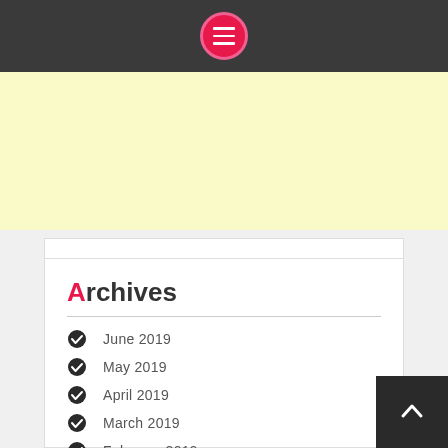Navigation menu button (hamburger icon in pink circle on dark bar)
[Figure (other): Yellow banner / advertisement area]
Archives
June 2019
May 2019
April 2019
March 2019
February 2019